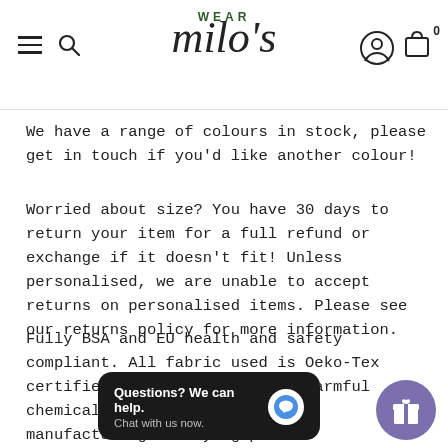Wear Milo's — navigation header with hamburger, search, logo, user and cart icons
We have a range of colours in stock, please get in touch if you'd like another colour!
Worried about size? You have 30 days to return your item for a full refund or exchange if it doesn't fit! Unless personalised, we are unable to accept returns on personalised items. Please see our returns policy for more information.
Fully BSA and EU health and safety compliant. All fabric used is Oeko-Tex certified which means that no harmful chemicals were used during the manufacturing and dying process
[Figure (screenshot): Chat popup widget: dark rounded rectangle with 'Questions? We can help. Chat with us now.' text and a blue chat bubble icon]
[Figure (other): Circular purple gift/rewards button with a gift box icon]